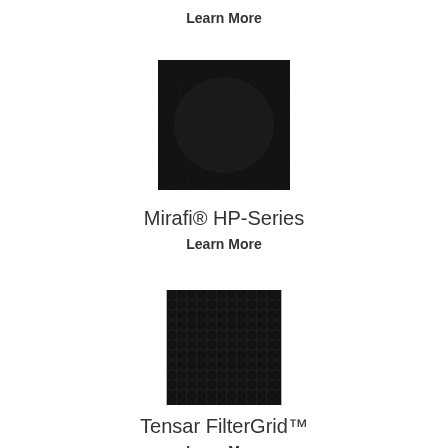Learn More
[Figure (photo): Close-up photograph of Mirafi HP-Series geotextile fabric showing dark nonwoven textile material]
Mirafi® HP-Series
Learn More
[Figure (photo): Close-up photograph of Tensar FilterGrid geotextile fabric showing dark woven/knitted grid textile material]
Tensar FilterGrid™
Learn More